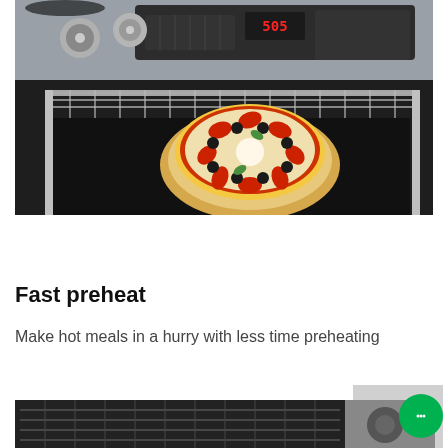[Figure (photo): A stainless steel electric range oven with open door showing a pizza with tomatoes, olives, and mozzarella on a round baking tray sitting on an oven rack. The control panel with knobs and digital display is visible at the top.]
Fast preheat
Make hot meals in a hurry with less time preheating
[Figure (photo): Bottom portion of a dark-colored kitchen appliance, partially visible.]